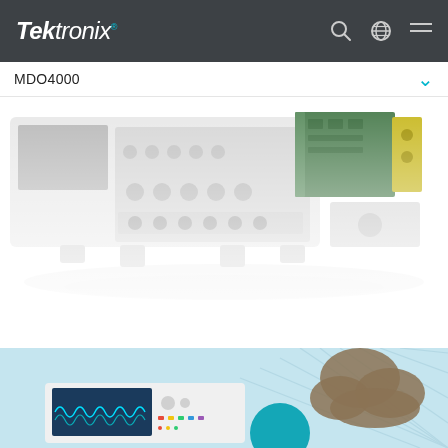Tektronix
MDO4000
[Figure (photo): MDO4000 oscilloscope product photo showing front panel with controls, BNC connectors, and a green circuit board module being inserted into the side slot. The instrument is shown at an angle against a white background, fading to white at the bottom.]
[Figure (illustration): Bottom banner illustration showing a light blue background with an oscilloscope displaying sine wave traces on screen, decorative brown cloud/smoke shapes, teal circular design element, and diagonal line patterns on the right side.]